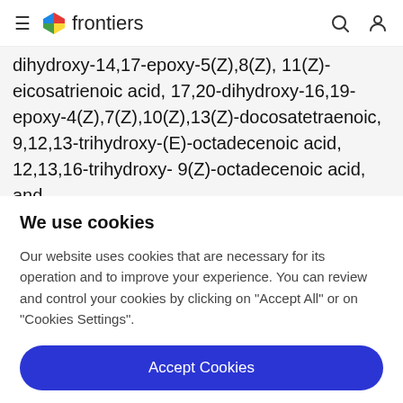frontiers
dihydroxy-14,17-epoxy-5(Z),8(Z), 11(Z)-eicosatrienoic acid, 17,20-dihydroxy-16,19-epoxy-4(Z),7(Z),10(Z),13(Z)-docosatetraenoic, 9,12,13-trihydroxy-(E)-octadecenoic acid, 12,13,16-trihydroxy- 9(Z)-octadecenoic acid, and
We use cookies
Our website uses cookies that are necessary for its operation and to improve your experience. You can review and control your cookies by clicking on "Accept All" or on "Cookies Settings".
Accept Cookies
Cookies Settings